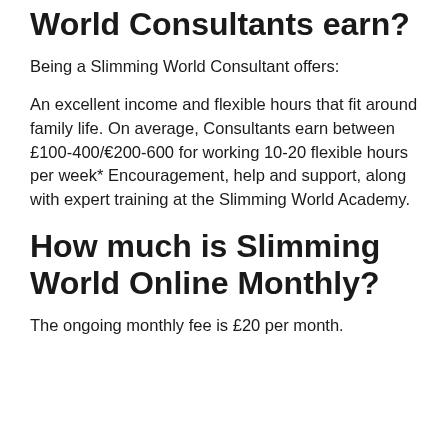World Consultants earn?
Being a Slimming World Consultant offers:
An excellent income and flexible hours that fit around family life. On average, Consultants earn between £100-400/€200-600 for working 10-20 flexible hours per week* Encouragement, help and support, along with expert training at the Slimming World Academy.
How much is Slimming World Online Monthly?
The ongoing monthly fee is £20 per month.